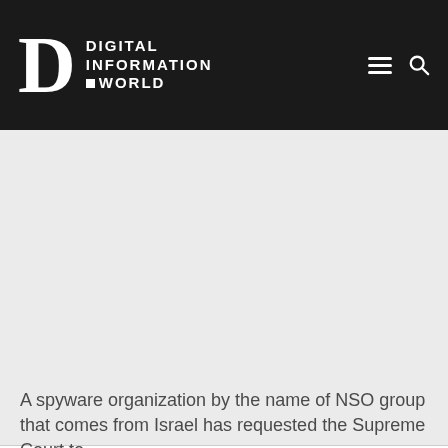Digital Information World
[Figure (other): Gray advertisement placeholder area]
A spyware organization by the name of NSO group that comes from Israel has requested the Supreme Court to